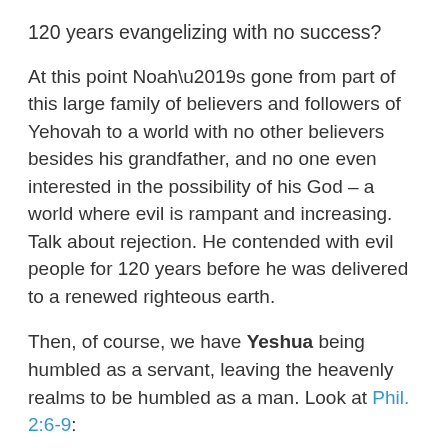120 years evangelizing with no success?
At this point Noah’s gone from part of this large family of believers and followers of Yehovah to a world with no other believers besides his grandfather, and no one even interested in the possibility of his God – a world where evil is rampant and increasing. Talk about rejection. He contended with evil people for 120 years before he was delivered to a renewed righteous earth.
Then, of course, we have Yeshua being humbled as a servant, leaving the heavenly realms to be humbled as a man. Look at Phil. 2:6-9:
“…although He existed in the form of God, did not regard equality with God a thing to be grasped, but emptied Himself, taking the form of a bond-servant, and being